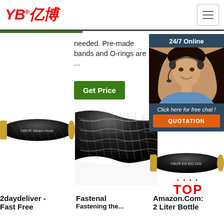[Figure (logo): YB亿博 logo in red italic text with registered trademark symbol]
needed. Pre-made bands and O-rings are ...
Nissan parts and accessories, fast shipping
[Figure (infographic): 24/7 Online chat overlay with woman wearing headset, Click here for free chat!, QUOTATION button]
[Figure (photo): YIBO Steam Hose black rubber hose product photo]
[Figure (photo): Large closeup of black braided hydraulic hose]
[Figure (photo): YIBO EN 853 2SN hydraulic hose thumbnail]
Get Price
2daydeliver - Fast Free
Fastenal
Fastening the...
Amazon.Com: 2 Liter Bottle